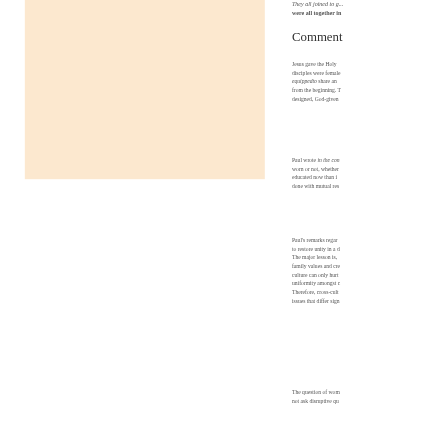They all joined to... were all together in
Comment
Jesus gave the Holy... disciples were female... equippedto share an... from the beginning. T... designed, God-given...
Paul wrote in the con... worn or not, whether... educated now than i... done with mutual res...
Paul's remarks regar... to restore unity in a d... The major lesson is,... family values and cre... culture can only hurt... uniformity amongst c... Therefore, cross-cult... issues that differ sign...
The question of wom... not ask disruptive qu...